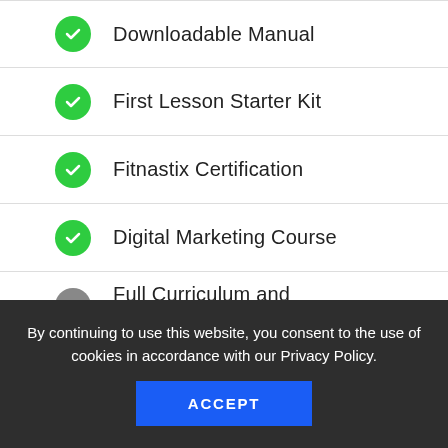Downloadable Manual
First Lesson Starter Kit
Fitnastix Certification
Digital Marketing Course
Full Curriculum and Scorecards
Done For You Lesson Plans
By continuing to use this website, you consent to the use of cookies in accordance with our Privacy Policy.
ACCEPT